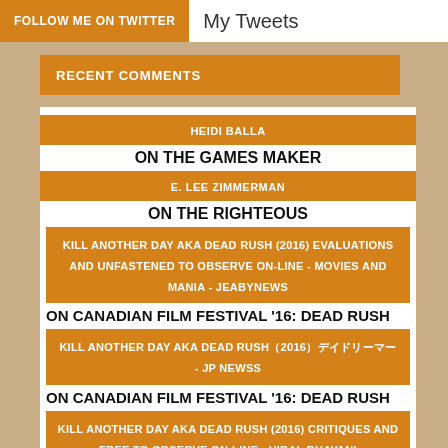FOLLOW ME ON TWITTER | My Tweets
RECENT COMMENTS
HEIDI BALLA
ON THE GAMES MAKER
E. LEE ZIMMERMAN
ON THE RIGHTEOUS
KILL ANOTHER DAY AKA DEAD RUSH (2016) EVALUATIONS AND UNFASTENED TO OBSERVE ON-LINE - MOVIES AND MANIA - JEABYNEWS
ON CANADIAN FILM FESTIVAL '16: DEAD RUSH
KILL ANOTHER DAY AKA DEAD RUSH（2016）デイドリーマー - JP NEWSS
ON CANADIAN FILM FESTIVAL '16: DEAD RUSH
KILL ANOTHER DAY AKA DEAD RUSH (2016) CRITIQUES AND FREE TO OBSERVE ON-LINE - VIRAL BHAYANI
ON CANADIAN FILM FESTIVAL '16: DEAD RUSH